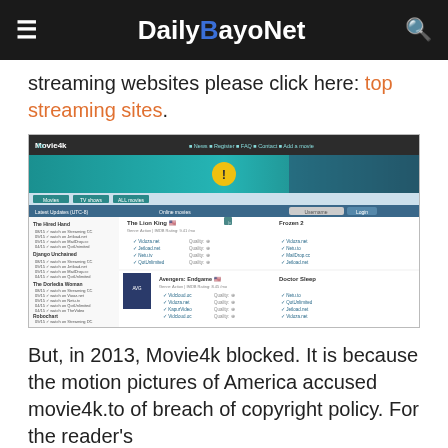DailyBayoNet
streaming websites please click here: top streaming sites.
[Figure (screenshot): Screenshot of the Movie4k.to website showing its homepage with movie listings including The Lion King, Avengers: Endgame, Tolkien, and other movies with streaming links.]
But, in 2013, Movie4k blocked. It is because the motion pictures of America accused movie4k.to of breach of copyright policy. For the reader's